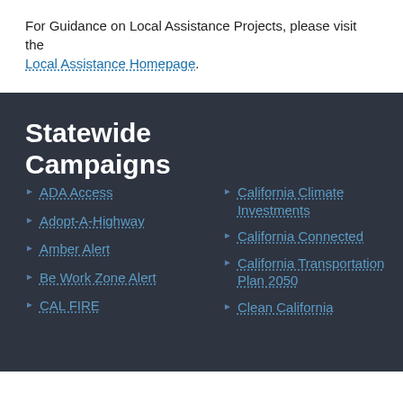For Guidance on Local Assistance Projects, please visit the Local Assistance Homepage.
Statewide Campaigns
ADA Access
Adopt-A-Highway
Amber Alert
Be Work Zone Alert
CAL FIRE
California Climate Investments
California Connected
California Transportation Plan 2050
Clean California